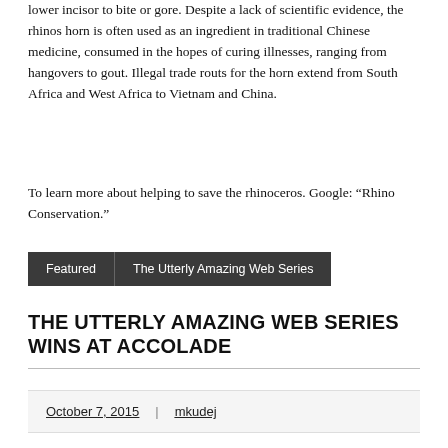lower incisor to bite or gore. Despite a lack of scientific evidence, the rhinos horn is often used as an ingredient in traditional Chinese medicine, consumed in the hopes of curing illnesses, ranging from hangovers to gout. Illegal trade routs for the horn extend from South Africa and West Africa to Vietnam and China.
To learn more about helping to save the rhinoceros. Google: “Rhino Conservation.”
Featured | The Utterly Amazing Web Series
THE UTTERLY AMAZING WEB SERIES WINS AT ACCOLADE
October 7, 2015 | mkudej